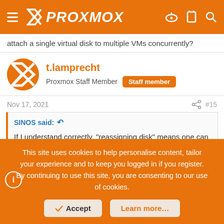PROXMOX
attach a single virtual disk to multiple VMs concurrently?
t.lamprecht
Proxmox Staff Member  Staff member
Nov 17, 2021  #15
SINOS said: ↩
If I understand correctly, "reassigning disk" means one can also attach a single virtual disk to multiple VMs concurrently?
This site uses cookies to help personalise content, tailor your experience and to keep you logged in if you register.
By continuing to use this site, you are consenting to our use of cookies.